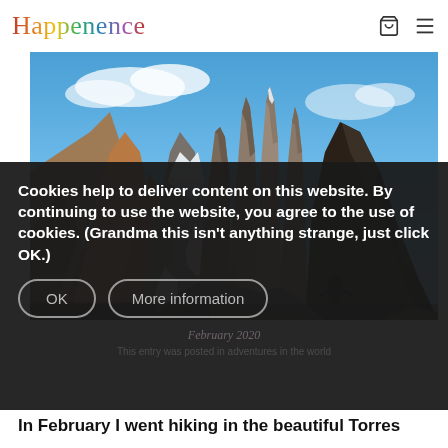Happenence
[Figure (photo): Mountain landscape photo showing Torres del Paine granite towers with snow, glacial valley, blue sky with clouds, and rocky terrain in Patagonia]
Cookies help to deliver content on this website. By continuing to use the website, you agree to the use of cookies. (Grandma this isn't anything strange, just click OK.)
OK
More information
February 2020
In February I went hiking in the beautiful Torres